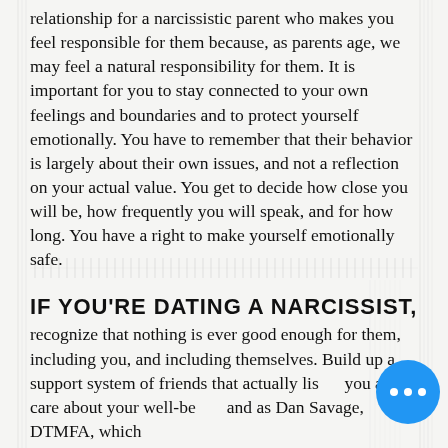relationship for a narcissistic parent who makes you feel responsible for them because, as parents age, we may feel a natural responsibility for them. It is important for you to stay connected to your own feelings and boundaries and to protect yourself emotionally. You have to remember that their behavior is largely about their own issues, and not a reflection on your actual value. You get to decide how close you will be, how frequently you will speak, and for how long. You have a right to make yourself emotionally safe.
IF YOU'RE DATING A NARCISSIST, recognize that nothing is ever good enough for them, including you, and including themselves. Build up a support system of friends that actually listen you and care about your well-being, and as Dan Savage, DTMFA, which